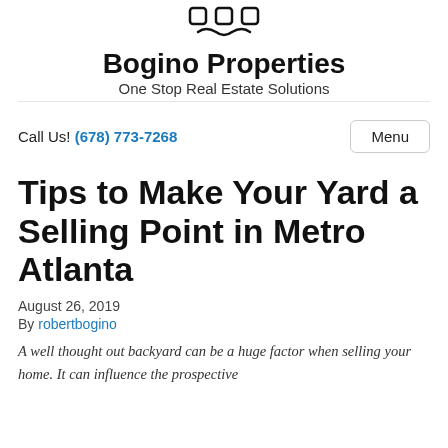[Figure (logo): Bogino Properties logo with mustache/face icon, brand name and tagline]
Call Us! (678) 773-7268
Menu
Tips to Make Your Yard a Selling Point in Metro Atlanta
August 26, 2019
By robertbogino
A well thought out backyard can be a huge factor when selling your home. It can influence the prospective